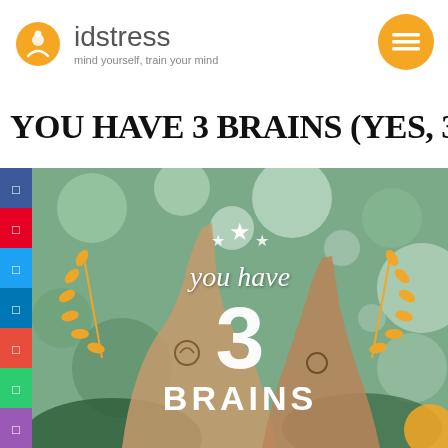[Figure (logo): idstress logo with orange meditation figure icon and text 'idstress mind yourself, train your mind']
[Figure (other): Orange circular hamburger menu button in top right corner]
YOU HAVE 3 BRAINS (YES, 3!)
[Figure (photo): Photo of two tattooed hands raised upward with 'You have 3 BRAINS' text overlay, orange laurel wreaths, white stars, on bokeh green background. Social share buttons on left sidebar (Facebook, Pinterest, Twitter, LinkedIn, Email, Print).]